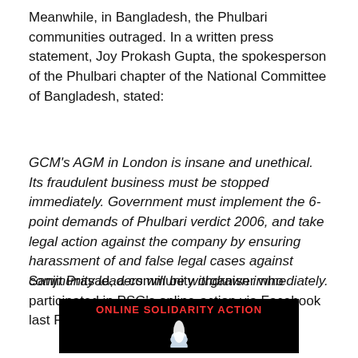Meanwhile, in Bangladesh, the Phulbari communities outraged. In a written press statement, Joy Prokash Gupta, the spokesperson of the Phulbari chapter of the National Committee of Bangladesh, stated:
GCM's AGM in London is insane and unethical. Its fraudulent business must be stopped immediately. Government must implement the 6-point demands of Phulbari verdict 2006, and take legal action against the company by ensuring harassment of and false legal cases against community leaders will be withdrawn immediately.
Sanjit Prasad, a community organiser who participated in PSG's online-action via Facebook last Friday, said:
[Figure (photo): Black banner image with red text reading 'ONLINE SOLIDARITY ACTION' and a white lotus flower graphic below]